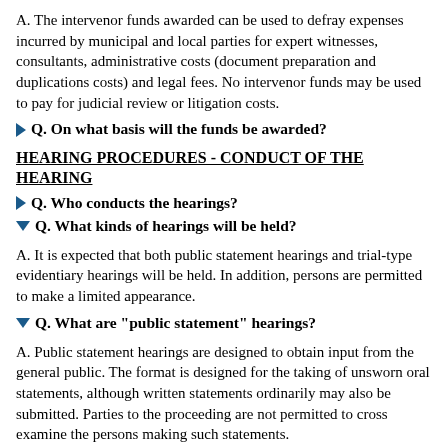A. The intervenor funds awarded can be used to defray expenses incurred by municipal and local parties for expert witnesses, consultants, administrative costs (document preparation and duplications costs) and legal fees. No intervenor funds may be used to pay for judicial review or litigation costs.
Q. On what basis will the funds be awarded?
HEARING PROCEDURES - CONDUCT OF THE HEARING
Q. Who conducts the hearings?
Q. What kinds of hearings will be held?
A. It is expected that both public statement hearings and trial-type evidentiary hearings will be held. In addition, persons are permitted to make a limited appearance.
Q. What are "public statement" hearings?
A. Public statement hearings are designed to obtain input from the general public. The format is designed for the taking of unsworn oral statements, although written statements ordinarily may also be submitted. Parties to the proceeding are not permitted to cross examine the persons making such statements.